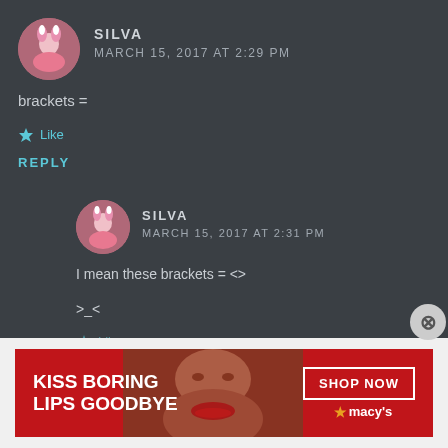SILVA
MARCH 15, 2017 AT 2:29 PM
brackets =
Like
REPLY
SILVA
MARCH 15, 2017 AT 2:31 PM
I mean these brackets = <>
>_<
Like
[Figure (infographic): Macy's advertisement banner: red background with woman's face, text 'KISS BORING LIPS GOODBYE', SHOP NOW button, and Macy's star logo]